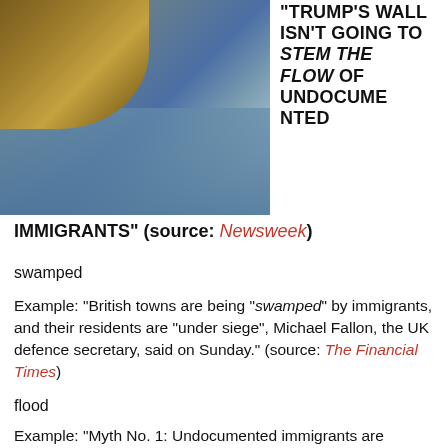[Figure (photo): Photograph of a river or stream with rocky bank and dry grass in the foreground, water flowing in background]
“TRUMP’S WALL ISN’T GOING TO STEM THE FLOW OF UNDOCUMENTED IMMIGRANTS” (source: Newsweek)
swamped
Example: “British towns are being “swamped” by immigrants, and their residents are “under siege”, Michael Fallon, the UK defence secretary, said on Sunday.” (source: The Financial Times)
flood
Example: “Myth No. 1: Undocumented immigrants are